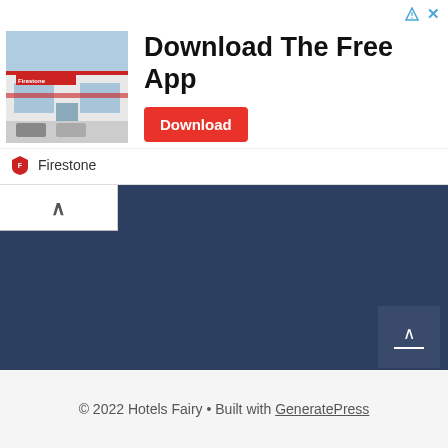[Figure (screenshot): Firestone auto care store building exterior photo used in advertisement]
Download The Free App
Download
Firestone
[Figure (other): Collapse/chevron up tab button]
[Figure (other): Dark navy blue background area - main content loading area]
[Figure (other): Scroll to top button with chevron up arrow]
© 2022 Hotels Fairy • Built with GeneratePress